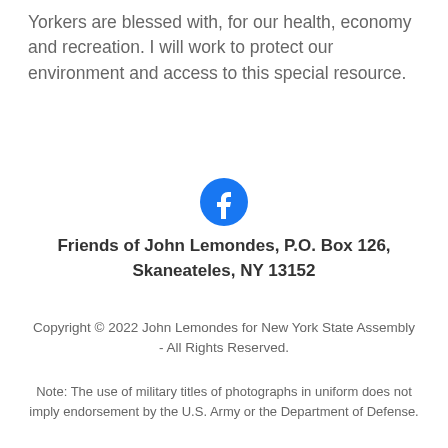Yorkers are blessed with, for our health, economy and recreation. I will work to protect our environment and access to this special resource.
[Figure (logo): Facebook logo icon — blue circle with white 'f' letter]
Friends of John Lemondes, P.O. Box 126, Skaneateles, NY 13152
Copyright © 2022 John Lemondes for New York State Assembly - All Rights Reserved.
Note: The use of military titles of photographs in uniform does not imply endorsement by the U.S. Army or the Department of Defense.